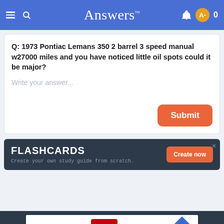Answers
Q: 1973 Pontiac Lemans 350 2 barrel 3 speed manual w27000 miles and you have noticed little oil spots could it be major?
Write your answer...
[Figure (screenshot): FLASHCARDS advertisement banner: 'Create your own study guide from scratch.' with a 'Create now' button]
[Figure (screenshot): Bottom advertisement strip showing CVS Pharmacy logo and navigation arrow icon]